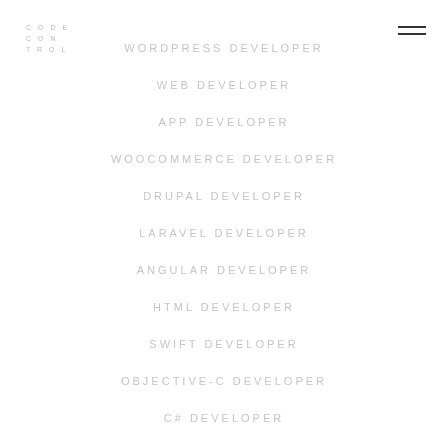CODE CON TROL
WORDPRESS DEVELOPER
WEB DEVELOPER
APP DEVELOPER
WOOCOMMERCE DEVELOPER
DRUPAL DEVELOPER
LARAVEL DEVELOPER
ANGULAR DEVELOPER
HTML DEVELOPER
SWIFT DEVELOPER
OBJECTIVE-C DEVELOPER
C# DEVELOPER
C++ DEVELOPER